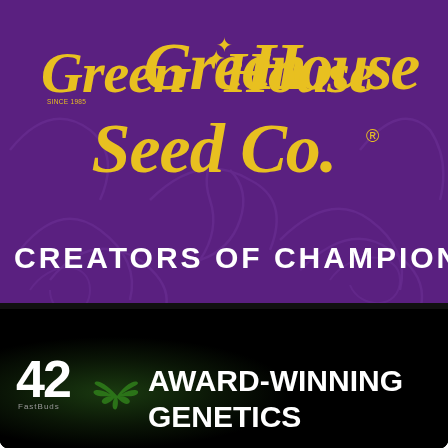[Figure (logo): Green House Seed Co. logo on purple background with swirl patterns. Yellow cursive script reads 'Green House Seed Co.' with a star between 'Green' and 'House'. 'SINCE 1985' text below Green. Registered trademark symbol after 'Co.']
CREATORS OF CHAMPIONS
[Figure (logo): 42 Fast Buds logo on dark/black background with green cannabis leaf. White bold text reads 'AWARD-WINNING GENETICS' to the right of the logo.]